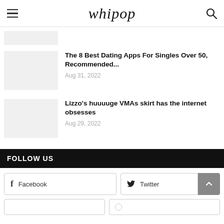whipop
[Figure (photo): Partial thumbnail image placeholder at top]
The 8 Best Dating Apps For Singles Over 50, Recommended...
Aug 31, 2022
Lizzo's huuuuge VMAs skirt has the internet obsesses
Aug 29, 2022
FOLLOW US
Facebook
Twitter